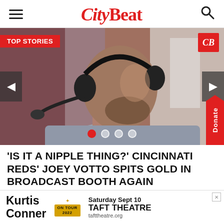CityBeat
[Figure (photo): Man wearing headset in a broadcast booth, viewed in profile, with blurred colorful background. Red 'TOP STORIES' badge top-left, CityBeat 'CB' logo badge top-right, navigation arrows on sides, pagination dots at bottom, red 'Donate' tab on right side.]
'IS IT A NIPPLE THING?' CINCINNATI REDS' JOEY VOTTO SPITS GOLD IN BROADCAST BOOTH AGAIN
[Figure (infographic): Advertisement for Kurtis Conner 'On Tour 2022' - Saturday Sept 10 at Taft Theatre, tafttheatre.org]